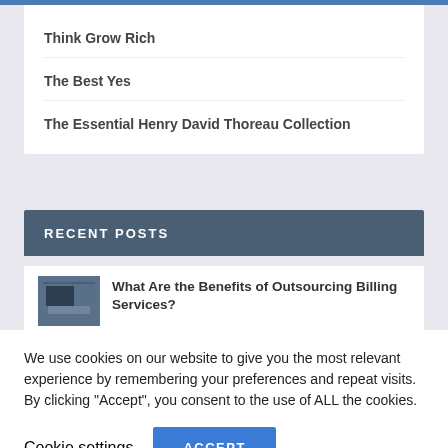Think Grow Rich
The Best Yes
The Essential Henry David Thoreau Collection
RECENT POSTS
[Figure (photo): Small thumbnail image of an office/desk scene with dark blue tones]
What Are the Benefits of Outsourcing Billing Services?
We use cookies on our website to give you the most relevant experience by remembering your preferences and repeat visits. By clicking “Accept”, you consent to the use of ALL the cookies.
Cookie settings
ACCEPT